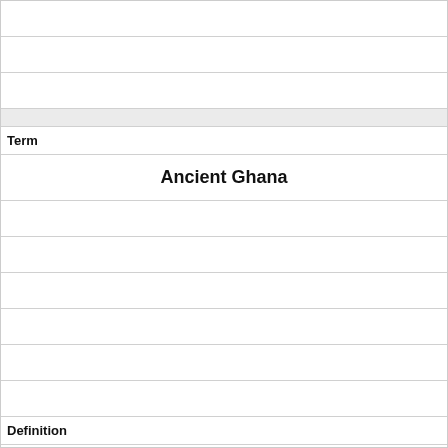| Term | Definition |
| --- | --- |
| Ancient Ghana | 1st ancient kingdom in Western Africa |